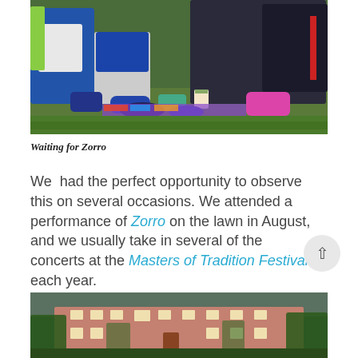[Figure (photo): People sitting on grass at an outdoor event, with shoes and bags visible in the foreground]
Waiting for Zorro
We had the perfect opportunity to observe this on several occasions. We attended a performance of Zorro on the lawn in August, and we usually take in several of the concerts at the Masters of Tradition Festival each year.
[Figure (photo): A large Georgian mansion or country house with ivy and trees, photographed at dusk or evening]